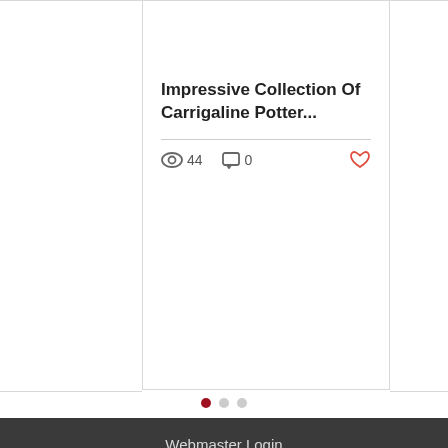[Figure (photo): Partial view of people in a shop or gallery, showing legs and shelves in the background]
Impressive Collection Of Carrigaline Potter...
👁 44   💬 0   ♡
[Figure (other): Carousel pagination dots: one active red dot and two grey dots]
Webmaster Login
© 2020 By THE CARRIGDHOUN | PRIVACY POLICY
Ireland